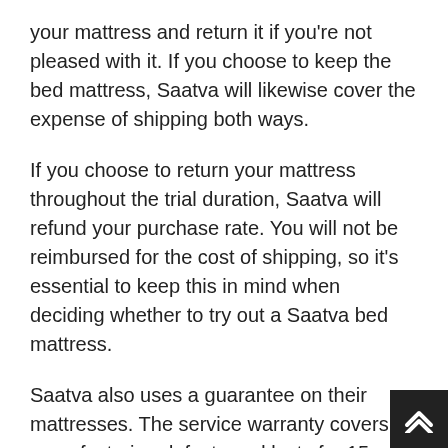your mattress and return it if you're not pleased with it. If you choose to keep the bed mattress, Saatva will likewise cover the expense of shipping both ways.
If you choose to return your mattress throughout the trial duration, Saatva will refund your purchase rate. You will not be reimbursed for the cost of shipping, so it's essential to keep this in mind when deciding whether to try out a Saatva bed mattress.
Saatva also uses a guarantee on their mattresses. The service warranty covers manufacturing defects and lasts for 15 years. This is one of the longest warranties in the market, so you can be sure that your Saatva bed mattress will last for years.
If you're looking for a high-quality bed mattress with a generous trial duration and guarantee, Saatva is a